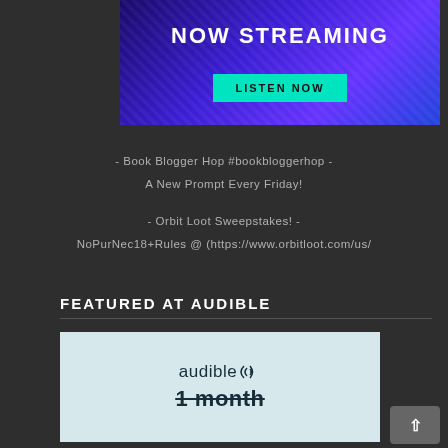[Figure (illustration): Streaming banner with purple/blue gradient background, repeating diamond pattern, 'NOW STREAMING' text in white, and a teal 'LISTEN NOW' button]
- Book Blogger Hop #bookbloggerhop -
A New Prompt Every Friday!
- Orbit Loot Sweepstakes! -
NoPurNec18+Rules @ (https://www.orbitloot.com/us/
FEATURED AT AUDIBLE
[Figure (logo): Audible logo with sound wave icon and '1 month' text with strikethrough on light blue background]